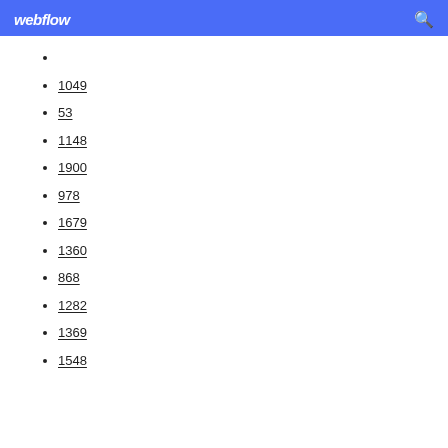webflow
1049
53
1148
1900
978
1679
1360
868
1282
1369
1548